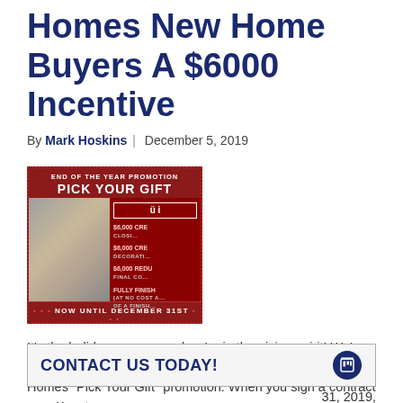Homes New Home Buyers A $6000 Incentive
By Mark Hoskins | December 5, 2019
[Figure (photo): Promotional image: 'END OF THE YEAR PROMOTION - PICK YOUR GIFT' with Christmas gift wrapping photo and options including $6000 credits for closing, decorating, final cost reduction, and fully finished fireplace. NOW UNTIL DECEMBER 31ST.]
It's the holiday season, and we're in the giving spirit! We're excited to announce the Second Annual Benjamin Marcus Homes "Pick Your Gift" promotion.  When you sign a contract on a Keystone or [continued] 31, 2019, [continued] s...
CONTACT US TODAY!